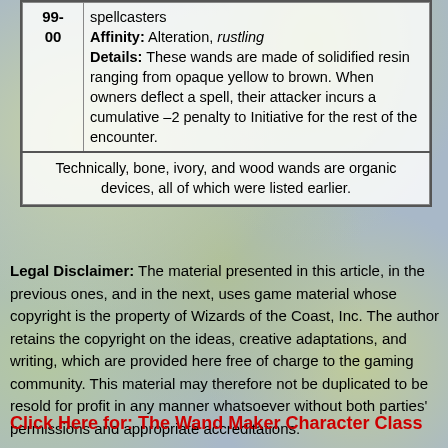| Roll | Description |
| --- | --- |
| 99-00 | spellcasters
Affinity: Alteration, rustling
Details: These wands are made of solidified resin ranging from opaque yellow to brown. When owners deflect a spell, their attacker incurs a cumulative –2 penalty to Initiative for the rest of the encounter. |
|  | Technically, bone, ivory, and wood wands are organic devices, all of which were listed earlier. |
Legal Disclaimer: The material presented in this article, in the previous ones, and in the next, uses game material whose copyright is the property of Wizards of the Coast, Inc. The author retains the copyright on the ideas, creative adaptations, and writing, which are provided here free of charge to the gaming community. This material may therefore not be duplicated to be resold for profit in any manner whatsoever without both parties' permissions and appropriate accreditations.
Click Here for: The Wand Maker Character Class